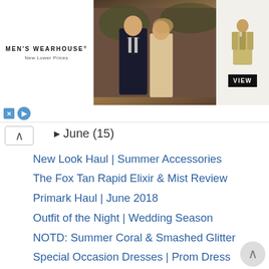[Figure (advertisement): Men's Wearhouse advertisement banner showing logo on left, couple in wedding attire in center, man in tan suit on right with VIEW button]
▸ June (15)
New Look Haul | Summer Accessories
The Fox Tan Rapid Elixir & Mist Review
Primark Haul | June 2018
Outfit of the Night | Wedding Season
NOTD: Summer Coral & Smashed Glitter
Special Occasion Dresses | Prom Dress Fashion
Outfit of the Day | Dungarees & Afternoon Tea
Honeymoon Packing Wishlist
Wedding Supplies from Wish.com | Can It Be Trusted?
Outfit of the Day | Standard Saturday
BlanX Pro | Teeth Whitening